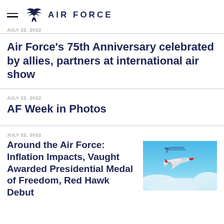AIR FORCE
JULY 22, 2022
Air Force's 75th Anniversary celebrated by allies, partners at international air show
JULY 22, 2022
AF Week in Photos
JULY 22, 2022
Around the Air Force: Inflation Impacts, Vaught Awarded Presidential Medal of Freedom, Red Hawk Debut
[Figure (photo): Red/white jet aircraft flying above clouds against blue sky with Air Force logo watermark]